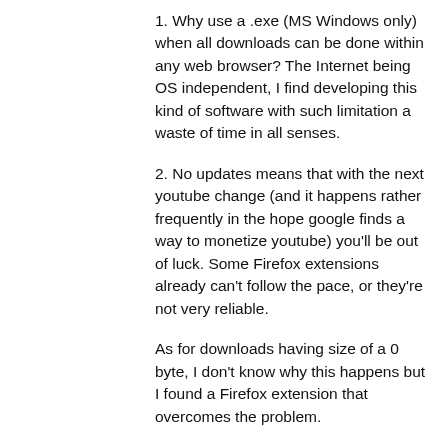1. Why use a .exe (MS Windows only) when all downloads can be done within any web browser? The Internet being OS independent, I find developing this kind of software with such limitation a waste of time in all senses.
2. No updates means that with the next youtube change (and it happens rather frequently in the hope google finds a way to monetize youtube) you'll be out of luck. Some Firefox extensions already can't follow the pace, or they're not very reliable.
As for downloads having size of a 0 byte, I don't know why this happens but I found a Firefox extension that overcomes the problem.
3. That's me, but framework 4.0 is a no-no. I don't want to install in my XP box a clumsy, unsecure and already obsolete crap. Besides, knowing that most updates are about security issues, all XP users will never benefit from them very soon.